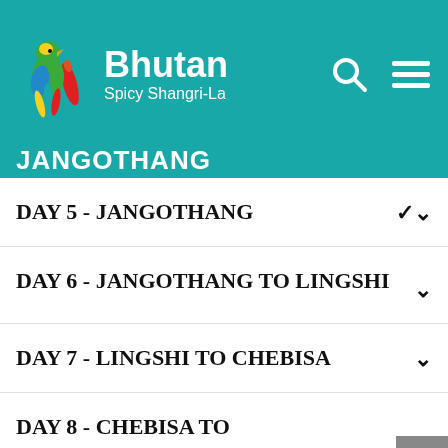[Figure (logo): Bhutan Spicy Shangri-La logo with colorful bird and chili pepper illustration, teal header bar with search and menu icons]
JANGOTHANG
DAY 5 - JANGOTHANG
DAY 6 - JANGOTHANG TO LINGSHI
DAY 7 - LINGSHI TO CHEBISA
DAY 8 - CHEBISA TO SHAKSHEБASA